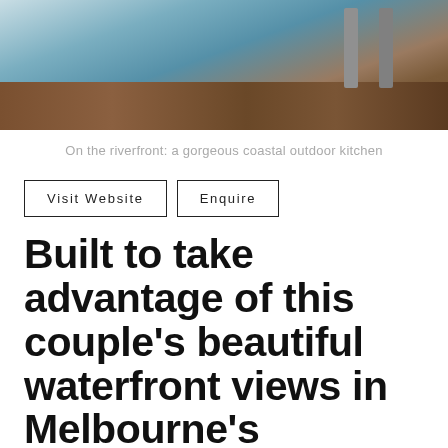[Figure (photo): Partial view of a coastal outdoor kitchen on a riverfront, showing bar stools, teal/blue cabinetry, and hardwood flooring from above]
On the riverfront: a gorgeous coastal outdoor kitchen
Visit Website   Enquire
Built to take advantage of this couple's beautiful waterfront views in Melbourne's Patterson Lakes, this outdoor kitchen is the perfect balance of style and